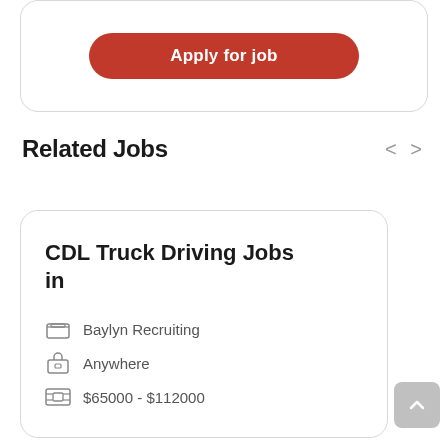Apply for job
Related Jobs
CDL Truck Driving Jobs in
Baylyn Recruiting
Anywhere
$65000 - $112000